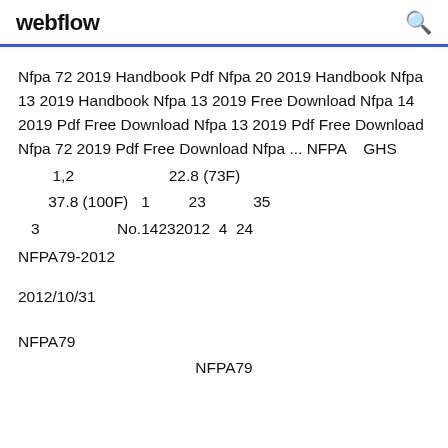webflow
Nfpa 72 2019 Handbook Pdf Nfpa 20 2019 Handbook Nfpa 13 2019 Handbook Nfpa 13 2019 Free Download Nfpa 14 2019 Pdf Free Download Nfpa 13 2019 Pdf Free Download Nfpa 72 2019 Pdf Free Download Nfpa ... NFPA GHS
1,2                            22.8 (73F)
37.8 (100F)  1          23              35
3                    No.14232012  4  24
NFPA79-2012
2012/10/31
NFPA79
NFPA79